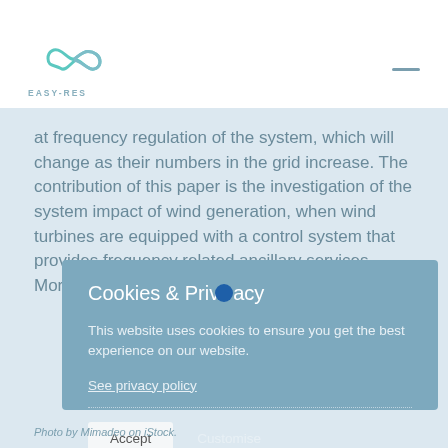EASY-RES
at frequency regulation of the system, which will change as their numbers in the grid increase. The contribution of this paper is the investigation of the system impact of wind generation, when wind turbines are equipped with a control system that provides frequency related ancillary services. More specifically, we analyze primary frequency
Cookies & Privacy

This website uses cookies to ensure you get the best experience on our website.

See privacy policy

Accept  Customise
Photo by Mimadeo on iStock.